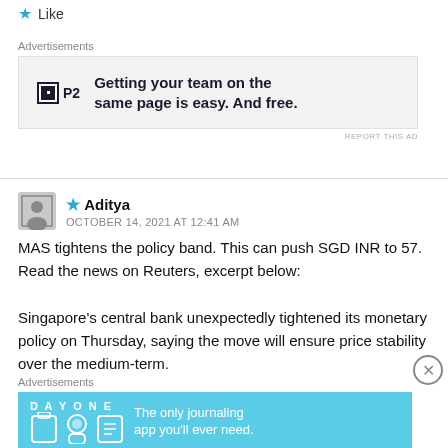★ Like
[Figure (screenshot): Advertisement banner for P2 with text: Getting your team on the same page is easy. And free.]
Advertisements
★ Aditya
OCTOBER 14, 2021 AT 12:41 AM
MAS tightens the policy band. This can push SGD INR to 57. Read the news on Reuters, excerpt below:

Singapore's central bank unexpectedly tightened its monetary policy on Thursday, saying the move will ensure price stability over the medium-term.
Advertisements
[Figure (screenshot): Advertisement banner for Day One journaling app: The only journaling app you'll ever need.]